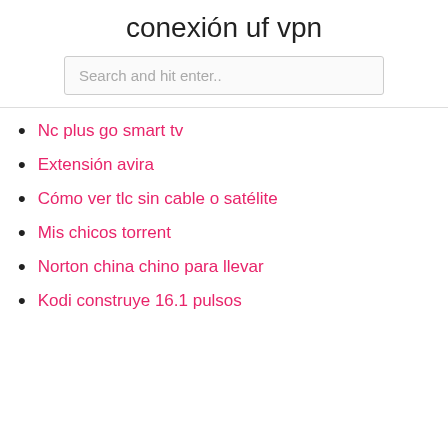conexión uf vpn
Nc plus go smart tv
Extensión avira
Cómo ver tlc sin cable o satélite
Mis chicos torrent
Norton china chino para llevar
Kodi construye 16.1 pulsos